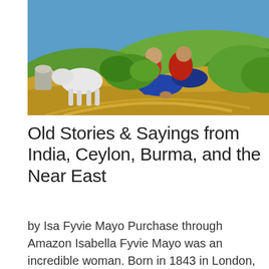[Figure (illustration): A colorful folk-art style painting showing figures in red and blue garments resting near a cow or donkey on a landscape with green hills and golden/yellow ground.]
Old Stories & Sayings from India, Ceylon, Burma, and the Near East
by Isa Fyvie Mayo Purchase through Amazon Isabella Fyvie Mayo was an incredible woman. Born in 1843 in London, she enjoyed the benefits of schooling and encouragement of her writing. She worked